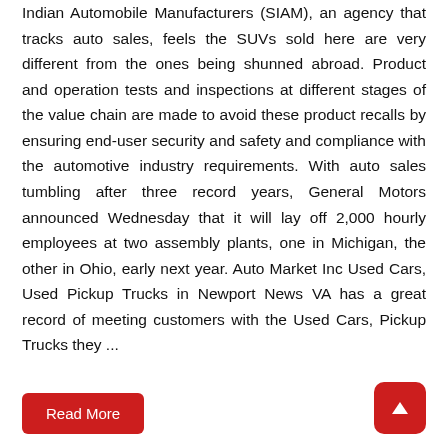Indian Automobile Manufacturers (SIAM), an agency that tracks auto sales, feels the SUVs sold here are very different from the ones being shunned abroad. Product and operation tests and inspections at different stages of the value chain are made to avoid these product recalls by ensuring end-user security and safety and compliance with the automotive industry requirements. With auto sales tumbling after three record years, General Motors announced Wednesday that it will lay off 2,000 hourly employees at two assembly plants, one in Michigan, the other in Ohio, early next year. Auto Market Inc Used Cars, Used Pickup Trucks in Newport News VA has a great record of meeting customers with the Used Cars, Pickup Trucks they ...
Read More